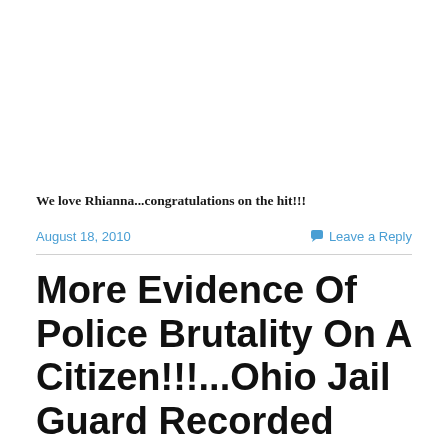We love Rhianna...congratulations on the hit!!!
August 18, 2010
Leave a Reply
More Evidence Of Police Brutality On A Citizen!!!...Ohio Jail Guard Recorded Hitting Inmate (VIDEO)...